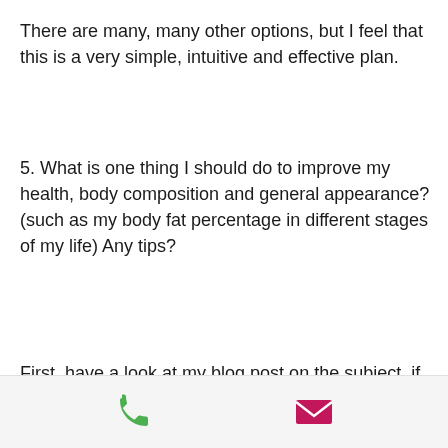There are many, many other options, but I feel that this is a very simple, intuitive and effective plan.
5. What is one thing I should do to improve my health, body composition and general appearance? (such as my body fat percentage in different stages of my life) Any tips?
First, have a look at my blog post on the subject, if you are unfamiliar with it. I also have a free ebook that you can download to get an idea of how much you can lose in a week. It tells you what you need to eat, how much to drink, when, and when not to drink it. Once you have done some research on this issue and have had some success with it (and it does work in real life), I feel you
[Figure (illustration): Footer bar with a green phone icon on the left and a pink/magenta email envelope icon on the right]